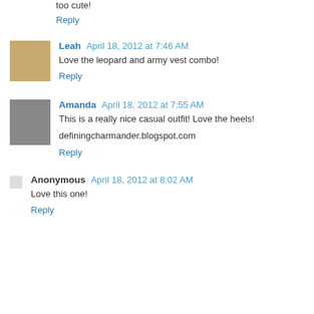too cute!
Reply
Leah  April 18, 2012 at 7:46 AM
Love the leopard and army vest combo!
Reply
Amanda  April 18, 2012 at 7:55 AM
This is a really nice casual outfit! Love the heels!
definingcharmander.blogspot.com
Reply
Anonymous  April 18, 2012 at 8:02 AM
Love this one!
Reply